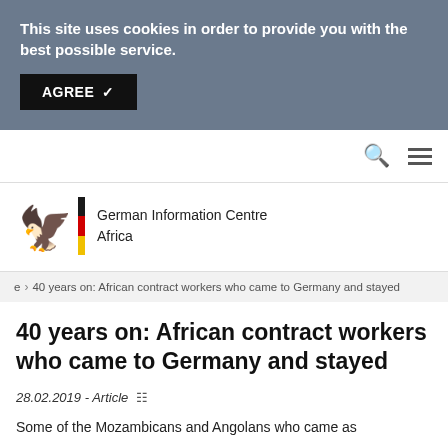This site uses cookies in order to provide you with the best possible service.
AGREE ✓
[Figure (logo): German Information Centre Africa logo with German eagle and flag stripe]
German Information Centre Africa
40 years on: African contract workers who came to Germany and stayed
40 years on: African contract workers who came to Germany and stayed
28.02.2019 - Article
Some of the Mozambicans and Angolans who came as